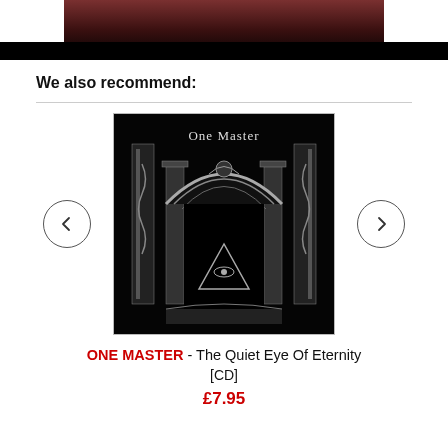[Figure (photo): Partial top image showing dark wood/brown background fading to black, cropped at top]
We also recommend:
[Figure (photo): Album cover for One Master - The Quiet Eye Of Eternity. Black and white gothic illustration of an ornate arch doorway with snakes on pillars, an eye within a downward triangle in the center, and 'One Master' text at top in gothic lettering.]
ONE MASTER - The Quiet Eye Of Eternity
[CD]
£7.95